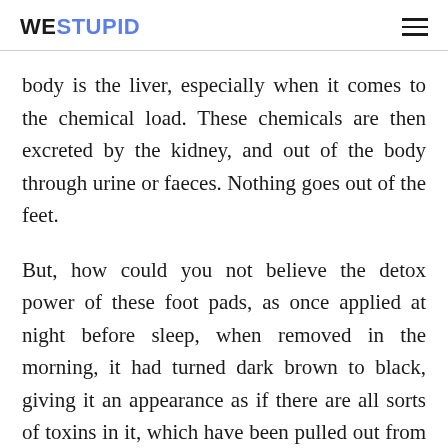WERSTUPID
body is the liver, especially when it comes to the chemical load. These chemicals are then excreted by the kidney, and out of the body through urine or faeces. Nothing goes out of the feet.
But, how could you not believe the detox power of these foot pads, as once applied at night before sleep, when removed in the morning, it had turned dark brown to black, giving it an appearance as if there are all sorts of toxins in it, which have been pulled out from the body, overnight.